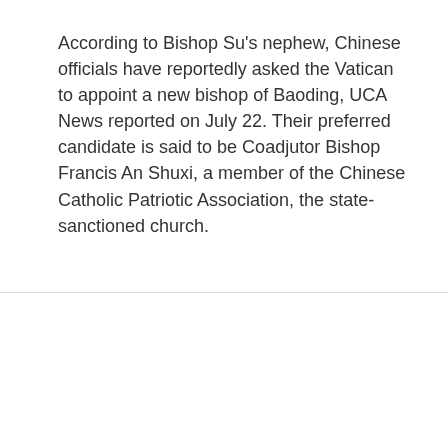According to Bishop Su's nephew, Chinese officials have reportedly asked the Vatican to appoint a new bishop of Baoding, UCA News reported on July 22. Their preferred candidate is said to be Coadjutor Bishop Francis An Shuxi, a member of the Chinese Catholic Patriotic Association, the state-sanctioned church.
We use cookies on our website to give you the most relevant experience by remembering your preferences and repeat visits. By clicking "Accept", you consent to the use of ALL the cookies.